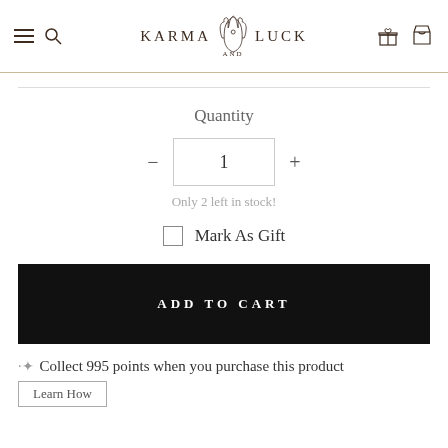Karma and Luck — navigation header with hamburger menu, search, logo, gift icon, and cart icon
Quantity
1
Only 2 left in stock!
Mark As Gift
ADD TO CART
✦ Collect 995 points when you purchase this product  Learn How